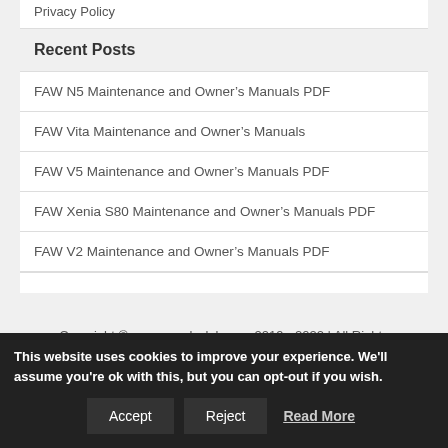Privacy Policy
Recent Posts
FAW N5 Maintenance and Owner's Manuals PDF
FAW Vita Maintenance and Owner's Manuals
FAW V5 Maintenance and Owner's Manuals PDF
FAW Xenia S80 Maintenance and Owner's Manuals PDF
FAW V2 Maintenance and Owner's Manuals PDF
Copyright © carmanualsclub.com 2019 - 2022 | All Rights
This website uses cookies to improve your experience. We'll assume you're ok with this, but you can opt-out if you wish. Accept Reject Read More